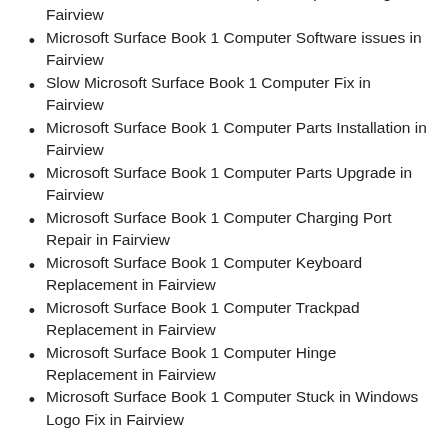Microsoft Surface Book 1 Computer Liquid Damage in Fairview
Microsoft Surface Book 1 Computer Software issues in Fairview
Slow Microsoft Surface Book 1 Computer Fix in Fairview
Microsoft Surface Book 1 Computer Parts Installation in Fairview
Microsoft Surface Book 1 Computer Parts Upgrade in Fairview
Microsoft Surface Book 1 Computer Charging Port Repair in Fairview
Microsoft Surface Book 1 Computer Keyboard Replacement in Fairview
Microsoft Surface Book 1 Computer Trackpad Replacement in Fairview
Microsoft Surface Book 1 Computer Hinge Replacement in Fairview
Microsoft Surface Book 1 Computer Stuck in Windows Logo Fix in Fairview